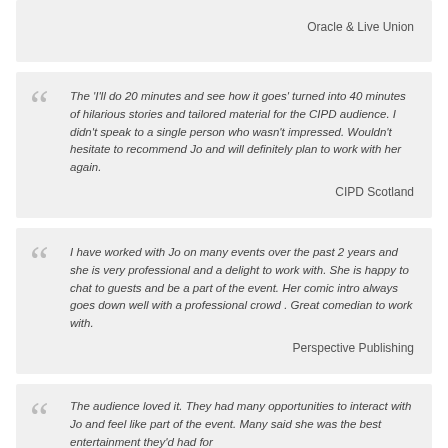Oracle & Live Union
The 'I'll do 20 minutes and see how it goes' turned into 40 minutes of hilarious stories and tailored material for the CIPD audience. I didn't speak to a single person who wasn't impressed. Wouldn't hesitate to recommend Jo and will definitely plan to work with her again.
CIPD Scotland
I have worked with Jo on many events over the past 2 years and she is very professional and a delight to work with. She is happy to chat to guests and be a part of the event. Her comic intro always goes down well with a professional crowd . Great comedian to work with.
Perspective Publishing
The audience loved it. They had many opportunities to interact with Jo and feel like part of the event. Many said she was the best entertainment they'd had for...